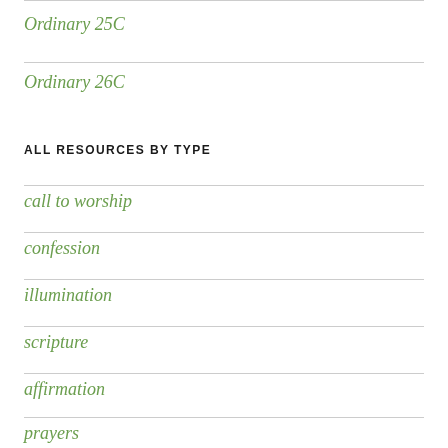Ordinary 25C
Ordinary 26C
ALL RESOURCES BY TYPE
call to worship
confession
illumination
scripture
affirmation
prayers
communion